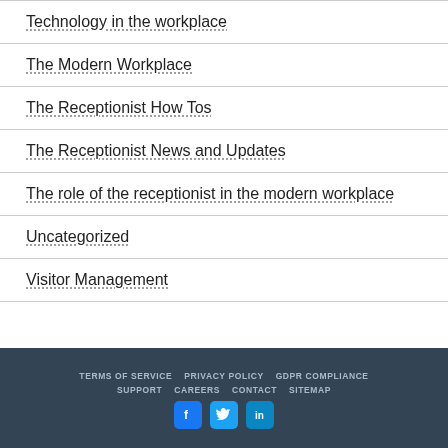Technology in the workplace
The Modern Workplace
The Receptionist How Tos
The Receptionist News and Updates
The role of the receptionist in the modern workplace
Uncategorized
Visitor Management
TERMS OF SERVICE  PRIVACY POLICY  GDPR COMPLIANCE  SUPPORT  CAREERS  CONTACT  SITEMAP